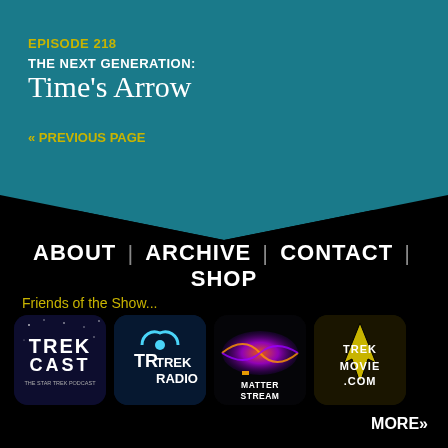EPISODE 218
THE NEXT GENERATION:
Time's Arrow
« PREVIOUS PAGE
ABOUT | ARCHIVE | CONTACT | SHOP
Friends of the Show...
[Figure (logo): TrekCast - The Star Trek Podcast logo]
[Figure (logo): TR Trek Radio logo]
[Figure (logo): Matter Stream logo]
[Figure (logo): TrekMovie.com logo]
MORE»